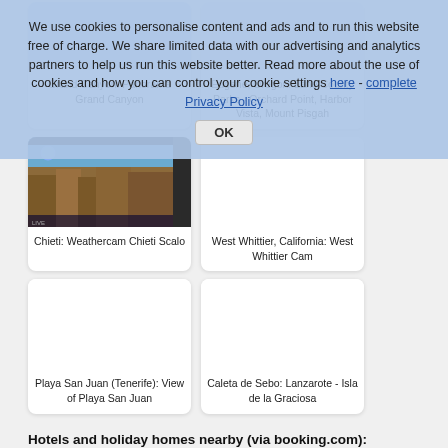We use cookies to personalise content and ads and to run this website free of charge. We share limited data with our advertising and analytics partners to help us run this website better. Read more about the use of cookies and how you can control your cookie settings here - complete Privacy Policy
[Figure (screenshot): Grand Canyon: Panorama Grand Canyon camera thumbnail]
Grand Canyon: Panorama Grand Canyon
[Figure (screenshot): Eugene, Oregon: Lane County Parks - Orchard Point, Harbor Vista, Mount Pisgah camera thumbnail]
Eugene, Oregon: Lane County Parks - Orchard Point, Harbor Vista, Mount Pisgah
[Figure (screenshot): Chieti: Weathercam Chieti Scalo camera image showing rooftops]
Chieti: Weathercam Chieti Scalo
[Figure (screenshot): West Whittier, California: West Whittier Cam - blank/no image]
West Whittier, California: West Whittier Cam
[Figure (screenshot): Playa San Juan (Tenerife): View of Playa San Juan - blank/no image]
Playa San Juan (Tenerife): View of Playa San Juan
[Figure (screenshot): Caleta de Sebo: Lanzarote - Isla de la Graciosa - blank/no image]
Caleta de Sebo: Lanzarote - Isla de la Graciosa
Hotels and holiday homes nearby (via booking.com):